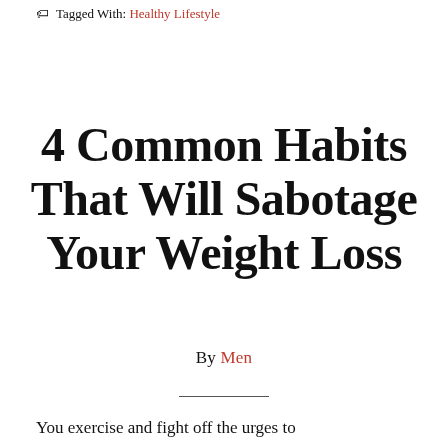Filed Under: Tips
🏷 Tagged With: Healthy Lifestyle
4 Common Habits That Will Sabotage Your Weight Loss
By Men
You exercise and fight off the urges to